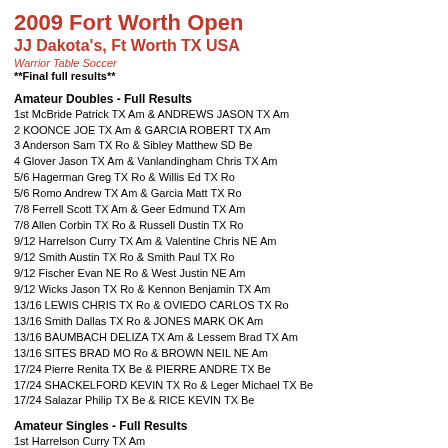2009 Fort Worth Open
JJ Dakota's, Ft Worth TX USA
Warrior Table Soccer
**Final full results**
Amateur Doubles - Full Results
1st McBride Patrick TX Am & ANDREWS JASON TX Am
2 KOONCE JOE TX Am & GARCIA ROBERT TX Am
3 Anderson Sam TX Ro & Sibley Matthew SD Be
4 Glover Jason TX Am & Vanlandingham Chris TX Am
5/6 Hagerman Greg TX Ro & Willis Ed TX Ro
5/6 Romo Andrew TX Am & Garcia Matt TX Ro
7/8 Ferrell Scott TX Am & Geer Edmund TX Am
7/8 Allen Corbin TX Ro & Russell Dustin TX Ro
9/12 Harrelson Curry TX Am & Valentine Chris NE Am
9/12 Smith Austin TX Ro & Smith Paul TX Ro
9/12 Fischer Evan NE Ro & West Justin NE Am
9/12 Wicks Jason TX Ro & Kennon Benjamin TX Am
13/16 LEWIS CHRIS TX Ro & OVIEDO CARLOS TX Ro
13/16 Smith Dallas TX Ro & JONES MARK OK Am
13/16 BAUMBACH DELIZA TX Am & Lessem Brad TX Am
13/16 SITES BRAD MO Ro & BROWN NEIL NE Am
17/24 Pierre Renita TX Be & PIERRE ANDRE TX Be
17/24 SHACKELFORD KEVIN TX Ro & Leger Michael TX Be
17/24 Salazar Philip TX Be & RICE KEVIN TX Be
Amateur Singles - Full Results
1st Harrelson Curry TX Am
2 Smith Dallas TX Ro
3 Romo Andrew TX Am
4 West Justin NE Am
5/6 Sibley Matthew SD Be
5/6 Smith Austin TX Ro
7/8 Valentine Chris NE Am
7/8 Glover Jason TX Am
9/12 BAUMBACH DELIZA TX Am
9/12 OVIEDO CARLOS TX Ro